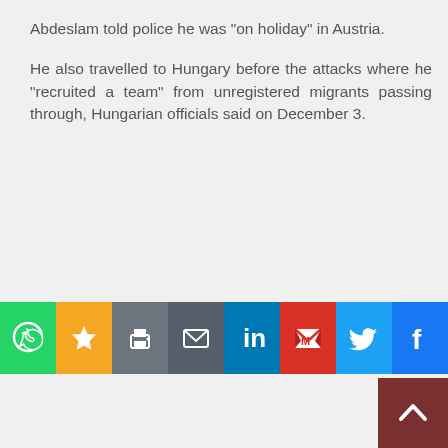Abdeslam told police he was "on holiday" in Austria.
He also travelled to Hungary before the attacks where he "recruited a team" from unregistered migrants passing through, Hungarian officials said on December 3.
[Figure (infographic): Social media sharing buttons row: WhatsApp (green), Favorites/star (yellow), Print (grey), Email (dark grey), LinkedIn (blue), Gmail (red), Twitter (blue), Facebook (dark blue)]
[Figure (other): Back to top button — dark red square with white upward chevron arrow, bottom-right corner]